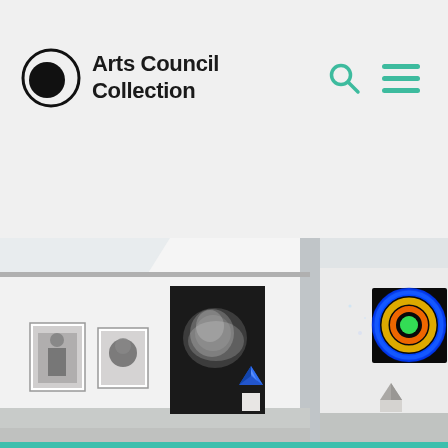Arts Council Collection
[Figure (photo): Interior gallery photograph showing white walls with framed artworks including black and white photographs, a large abstract dark painting with misty white cloud, a geometric blue sculpture on a pedestal, a circular neon/light artwork with concentric rings in blue, yellow, orange and green on black background, and scattered smaller sculptures on pedestals in a bright white gallery space.]